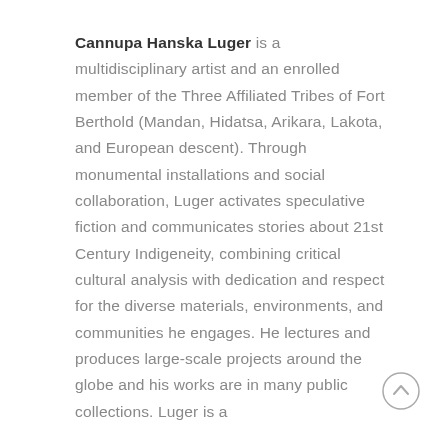Cannupa Hanska Luger is a multidisciplinary artist and an enrolled member of the Three Affiliated Tribes of Fort Berthold (Mandan, Hidatsa, Arikara, Lakota, and European descent). Through monumental installations and social collaboration, Luger activates speculative fiction and communicates stories about 21st Century Indigeneity, combining critical cultural analysis with dedication and respect for the diverse materials, environments, and communities he engages. He lectures and produces large-scale projects around the globe and his works are in many public collections. Luger is a